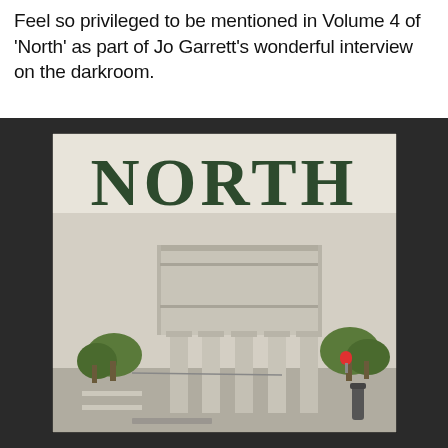Feel so privileged to be mentioned in Volume 4 of 'North' as part of Jo Garrett's wonderful interview on the darkroom.
[Figure (photo): Cover of 'NORTH' magazine Volume 4, showing a brutalist concrete water tower with columns, surrounded by trees, against a pale overcast sky. The word NORTH appears in large dark green serif text at the top of the cover. The magazine is photographed against a dark textured background.]